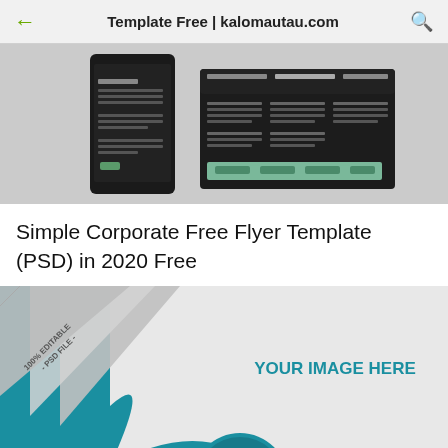Template Free | kalomautau.com
[Figure (screenshot): Screenshot of a dark-themed corporate flyer template preview showing a phone mockup and horizontal layout with Lorem Ipsum text blocks on a light gray background]
Simple Corporate Free Flyer Template (PSD) in 2020 Free
[Figure (photo): Corporate free flyer template mockup with teal/blue background, a peeled corner ribbon reading 100% EDITABLE PSD FILE, a white card area with YOUR IMAGE HERE text in teal, and a circular photo placeholder at the bottom]